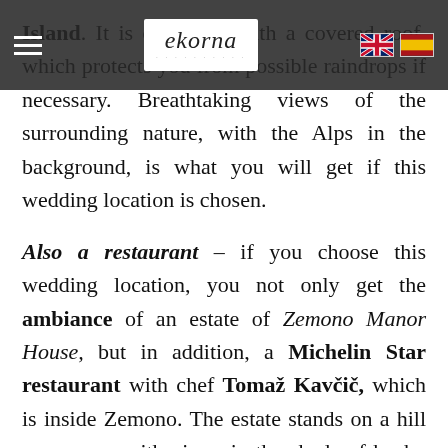ekorna [logo with hamburger menu and language flags]
Island. It is decorated with a covered roof, which protects you from possible raindrops if necessary. Breathtaking views of the surrounding nature, with the Alps in the background, is what you will get if this wedding location is chosen.
Also a restaurant – if you choose this wedding location, you not only get the ambiance of an estate of Zemono Manor House, but in addition, a Michelin Star restaurant with chef Tomaž Kavčič, which is inside Zemono. The estate stands on a hill overgrown with vines, in the shade of bushy trees and is the only